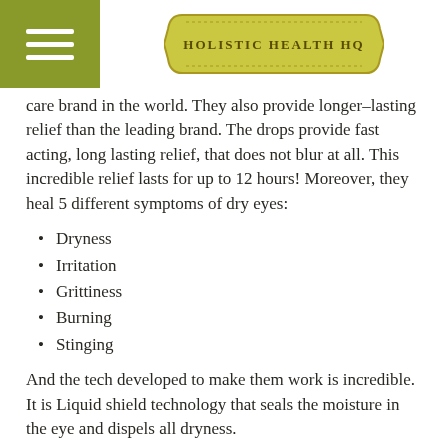HOLISTIC HEALTH HQ
care brand in the world. They also provide longer–lasting relief than the leading brand. The drops provide fast acting, long lasting relief, that does not blur at all. This incredible relief lasts for up to 12 hours! Moreover, they heal 5 different symptoms of dry eyes:
Dryness
Irritation
Grittiness
Burning
Stinging
And the tech developed to make them work is incredible. It is Liquid shield technology that seals the moisture in the eye and dispels all dryness.